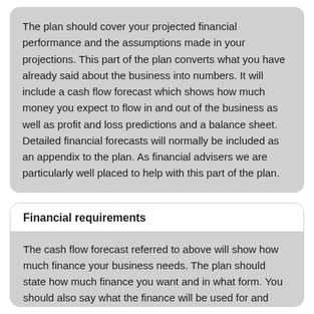The plan should cover your projected financial performance and the assumptions made in your projections. This part of the plan converts what you have already said about the business into numbers. It will include a cash flow forecast which shows how much money you expect to flow in and out of the business as well as profit and loss predictions and a balance sheet. Detailed financial forecasts will normally be included as an appendix to the plan. As financial advisers we are particularly well placed to help with this part of the plan.
Financial requirements
The cash flow forecast referred to above will show how much finance your business needs. The plan should state how much finance you want and in what form. You should also say what the finance will be used for and show that you will have the resources to make the necessary repayments. You may also give details of any